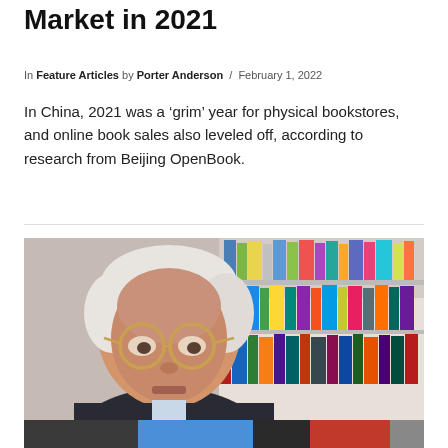Market in 2021
In Feature Articles by Porter Anderson / February 1, 2022
In China, 2021 was a ‘grim’ year for physical bookstores, and online book sales also leveled off, according to research from Beijing OpenBook.
[Figure (photo): Close-up photo of an elderly man with white hair wearing round gold-framed glasses, sitting in front of a bookshelf with colorful books.]